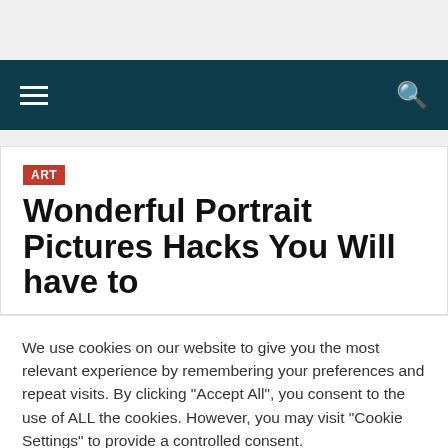Wonderful Portrait Pictures Hacks You Will have to
We use cookies on our website to give you the most relevant experience by remembering your preferences and repeat visits. By clicking "Accept All", you consent to the use of ALL the cookies. However, you may visit "Cookie Settings" to provide a controlled consent.